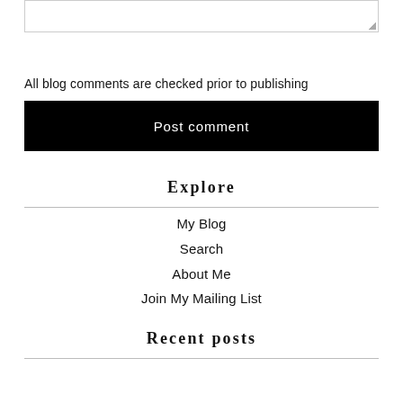[Figure (other): Textarea input box with resize handle at bottom-right corner]
All blog comments are checked prior to publishing
Post comment
Explore
My Blog
Search
About Me
Join My Mailing List
Recent posts